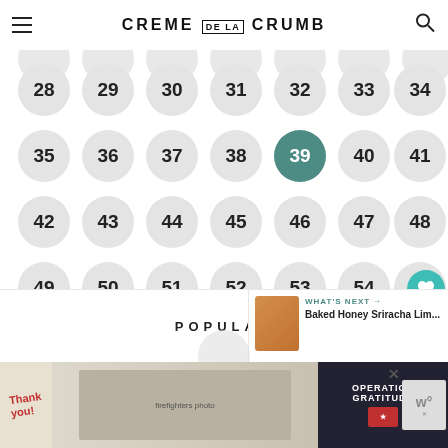CREME DE LA CRUMB
[Figure (screenshot): Pagination grid of numbered circles from 28 to 60, with circle 39 highlighted in teal/dark green. Partial circles visible at top. Arrow button and heart/share action buttons on right side.]
POPULAR
WHAT'S NEXT → Baked Honey Sriracha Lim...
[Figure (photo): Advertisement banner - Operation Gratitude thank you firefighters ad]